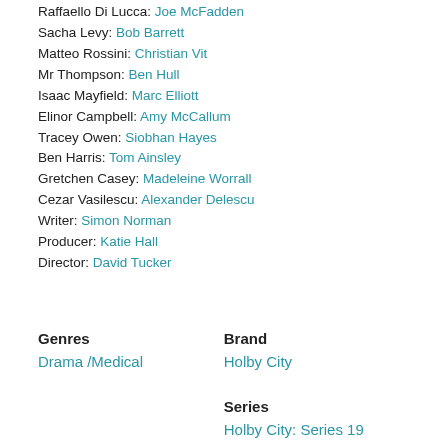Raffaello Di Lucca: Joe McFadden
Sacha Levy: Bob Barrett
Matteo Rossini: Christian Vit
Mr Thompson: Ben Hull
Isaac Mayfield: Marc Elliott
Elinor Campbell: Amy McCallum
Tracey Owen: Siobhan Hayes
Ben Harris: Tom Ainsley
Gretchen Casey: Madeleine Worrall
Cezar Vasilescu: Alexander Delescu
Writer: Simon Norman
Producer: Katie Hall
Director: David Tucker
Genres
Drama /Medical
Brand
Holby City
Series
Holby City: Series 19